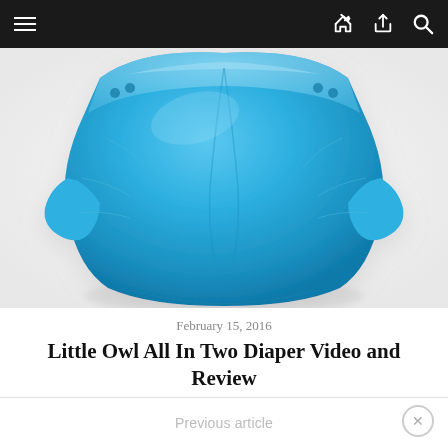Navigation bar with menu, share, and search icons
[Figure (photo): A blue cloth diaper (all-in-two style) on a white background, showing the outer shell in sky blue color with elastic gussets.]
February 15, 2016
Little Owl All In Two Diaper Video and Review
Previous article